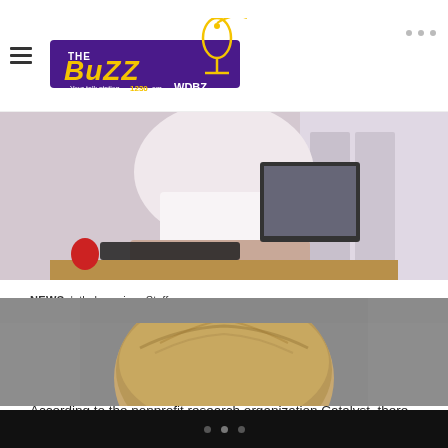The Buzz WDBZ — Navigation header with logo
[Figure (photo): Person in white shirt seated at a desk with computer keyboard and monitor, office setting, cropped/partial view]
NEWS | thebuzzcincy Staff
There May Soon Be No Black Female CEOs Among Fortune 500 Companies
According to the nonprofit research organization Catalyst, there are only 23 female CEOs among Fortune 500 companies. When Burns steps down, there will only be one woman of color among the group.
[Figure (photo): Close-up of a person with light brown hair, top of head visible, gray background]
Navigation dots indicator